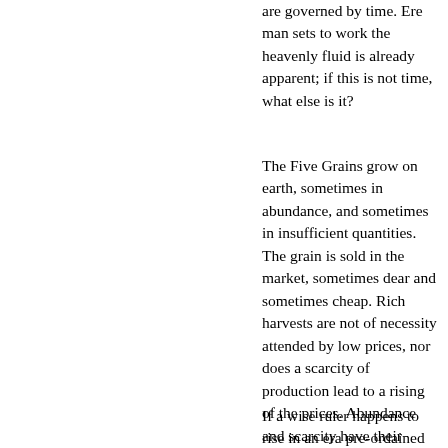are governed by time. Ere man sets to work the heavenly fluid is already apparent; if this is not time, what else is it?
The Five Grains grow on earth, sometimes in abundance, and sometimes in insufficient quantities. The grain is sold in the market, sometimes dear and sometimes cheap. Rich harvests are not of necessity attended by low prices, nor does a scarcity of production lead to a rising of the prices. Abundance and scarcity have their years, dearness and cheapness, their time. When there is to be dearness and abundance simultaneously, the grain price rises, and when there is to be cheapness and scarcity, it falls. The price of grain does not depend on the state of the harvest, no more than the conditions of a State turn on moral qualities. ¹⁵
If a wise ruler happens to rise in an era pre-ordained for order, virtue of